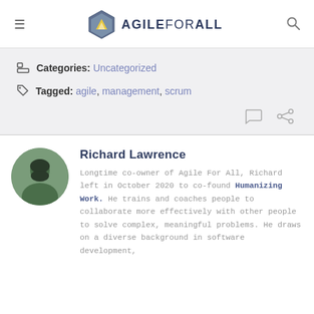AGILE FOR ALL
Categories: Uncategorized
Tagged: agile, management, scrum
Richard Lawrence
Longtime co-owner of Agile For All, Richard left in October 2020 to co-found Humanizing Work. He trains and coaches people to collaborate more effectively with other people to solve complex, meaningful problems. He draws on a diverse background in software development,